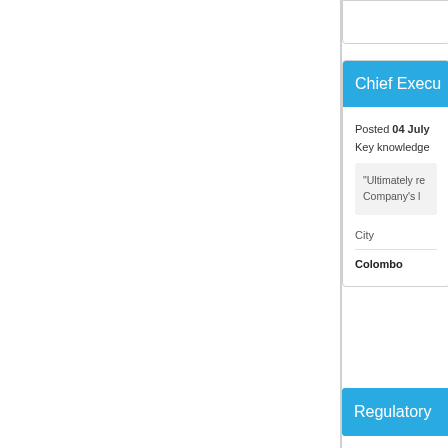Chief Execu[tive]
Posted 04 July
Key knowledge
"Ultimately re[sponsible for the] Company's l[eadership]
City
Colombo
Regulatory